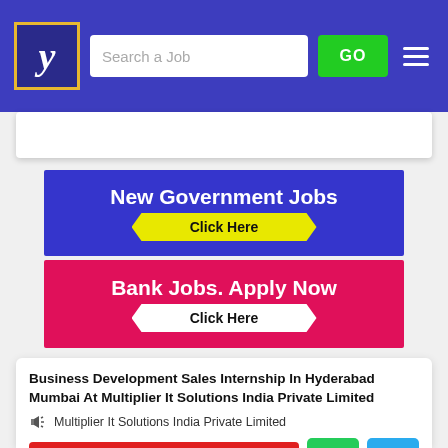[Figure (screenshot): Job portal website header with logo (stylized Y), search box 'Search a Job', green GO button, and hamburger menu on blue background]
[Figure (infographic): Blue banner ad reading 'New Government Jobs' with yellow chevron 'Click Here' button]
[Figure (infographic): Red/pink banner ad reading 'Bank Jobs. Apply Now' with white chevron 'Click Here' button]
Business Development Sales Internship In Hyderabad Mumbai At Multiplier It Solutions India Private Limited
Multiplier It Solutions India Private Limited
[Figure (infographic): Three action buttons: red POST RESUME button, green WhatsApp icon button, blue Telegram icon button]
Education : Any Graduate / Post Graduate